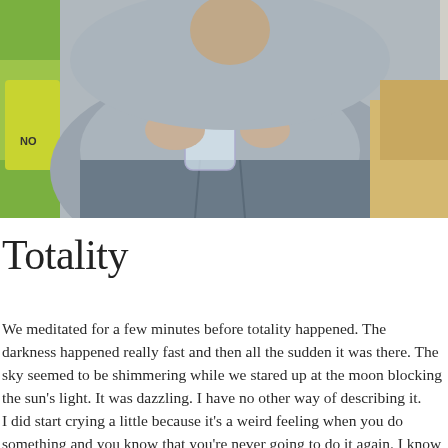[Figure (photo): A photo showing a person in a grey t-shirt holding what appears to be a clear jar or bottle, with colorful bags or items visible to the left side. The image is cropped showing mainly the torso area.]
Totality
We meditated for a few minutes before totality happened. The darkness happened really fast and then all the sudden it was there. The sky seemed to be shimmering while we stared up at the moon blocking the sun's light. It was dazzling. I have no other way of describing it.
I did start crying a little because it's a weird feeling when you do something and you know that you're never going to do it again. I know that I probably won't travel to see another eclipse, so